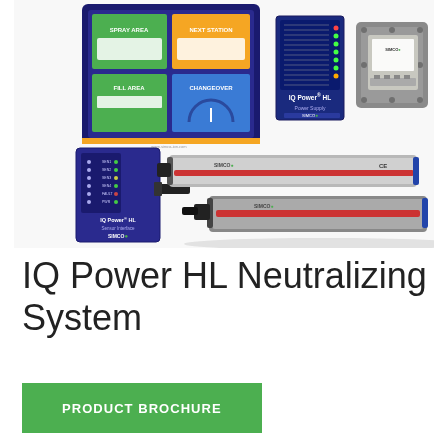[Figure (photo): Product photo showing the IQ Power HL Neutralizing System components: a touchscreen control interface (top left, dark blue with green and yellow quadrant panels showing SPRAY AREA, NEXT STATION, FILL AREA, CHANGEOVER labels), an IQ Power HL Power Supply panel (center top), a rugged explosion-proof junction box (top right, gray), an IQ Power HL Sensor Interface module (bottom left, dark purple/blue with SIMCO branding), and two ionizing bars/neutralizing bars (center and bottom, silver/aluminum with red accent strips).]
IQ Power HL Neutralizing System
PRODUCT BROCHURE